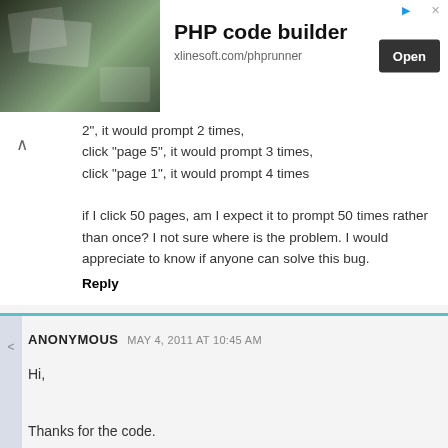[Figure (screenshot): Advertisement banner for PHP code builder by xlinesoft.com/phprunner with an Open button]
2", it would prompt 2 times,
click "page 5", it would prompt 3 times,
click "page 1", it would prompt 4 times

if I click 50 pages, am I expect it to prompt 50 times rather than once? I not sure where is the problem. I would appreciate to know if anyone can solve this bug.
Reply
ANONYMOUS  MAY 4, 2011 AT 10:45 AM

Hi,

Thanks for the code.

Could you please update the emails database ?

Thanks!